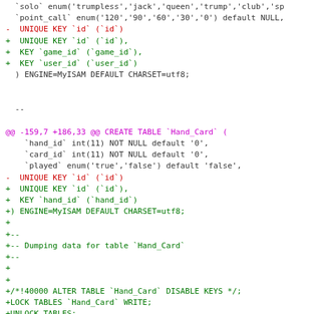SQL diff/patch code showing CREATE TABLE statements with removed (-) and added (+) lines for Hand_Card and Card_Exchange tables
[Figure (screenshot): Code diff showing SQL schema changes with red lines for removed content, green for added content, and magenta for diff headers]